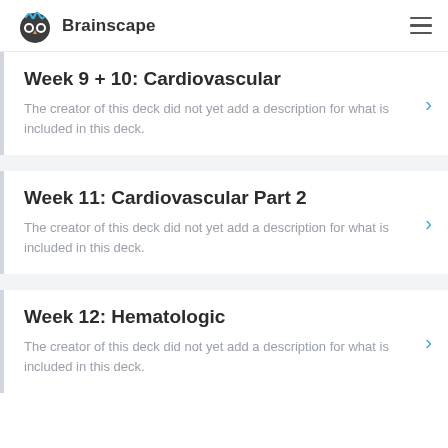Brainscape
Week 9 + 10: Cardiovascular
The creator of this deck did not yet add a description for what is included in this deck.
Week 11: Cardiovascular Part 2
The creator of this deck did not yet add a description for what is included in this deck.
Week 12: Hematologic
The creator of this deck did not yet add a description for what is included in this deck.